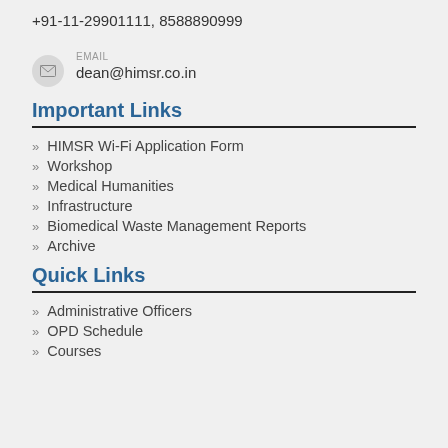+91-11-29901111, 8588890999
EMAIL
dean@himsr.co.in
Important Links
HIMSR Wi-Fi Application Form
Workshop
Medical Humanities
Infrastructure
Biomedical Waste Management Reports
Archive
Quick Links
Administrative Officers
OPD Schedule
Courses